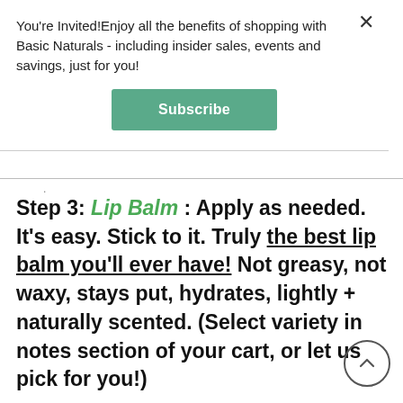You're Invited!Enjoy all the benefits of shopping with Basic Naturals - including insider sales, events and savings, just for you!
Subscribe
Step 3: Lip Balm : Apply as needed. It's easy. Stick to it. Truly the best lip balm you'll ever have! Not greasy, not waxy, stays put, hydrates, lightly + naturally scented. (Select variety in notes section of your cart, or let us pick for you!)
All of our products are 100% Natural, Organic, Non-GMO,